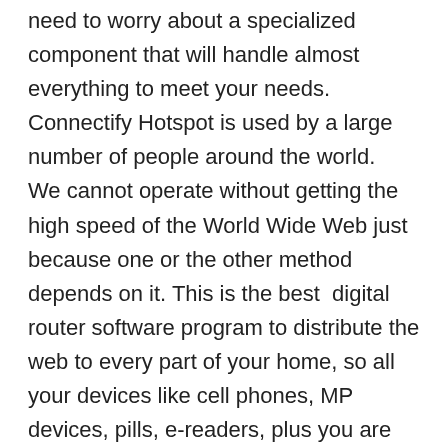need to worry about a specialized component that will handle almost everything to meet your needs. Connectify Hotspot is used by a large number of people around the world.  We cannot operate without getting the high speed of the World Wide Web just because one or the other method depends on it. This is the best  digital router software program to distribute the web to every part of your home, so all your devices like cell phones, MP devices, pills, e-readers, plus you are close to friends linked to the web system.
Connectify Hotspot Pro Crack With License Key 2022 [Latest]
In reality, there are times when there is no immediate access to the World Wide Web and many points cannot be